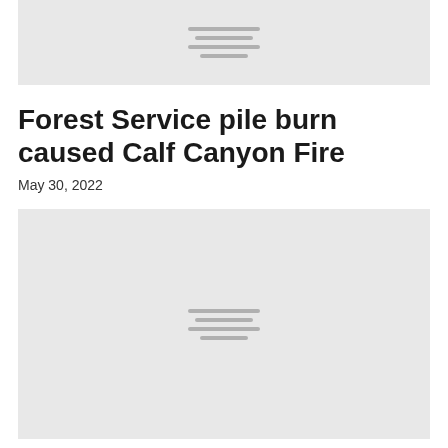[Figure (photo): Placeholder image with horizontal lines, cropped at top of page]
Forest Service pile burn caused Calf Canyon Fire
May 30, 2022
[Figure (photo): Placeholder image with horizontal lines]
CUS...